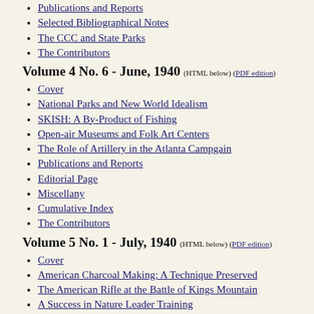Publications and Reports
Selected Bibliographical Notes
The CCC and State Parks
The Contributors
Volume 4 No. 6 - June, 1940 (HTML below) (PDF edition)
Cover
National Parks and New World Idealism
SKISH: A By-Product of Fishing
Open-air Museums and Folk Art Centers
The Role of Artillery in the Atlanta Campgain
Publications and Reports
Editorial Page
Miscellany
Cumulative Index
The Contributors
Volume 5 No. 1 - July, 1940 (HTML below) (PDF edition)
Cover
American Charcoal Making: A Technique Preserved
The American Rifle at the Battle of Kings Mountain
A Success in Nature Leader Training
A Student's View of the First Institute
War Underground: The Petersburg Mine